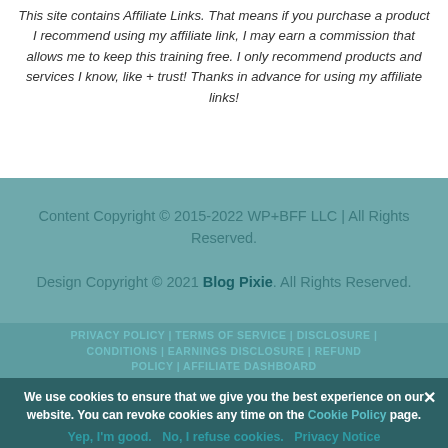This site contains Affiliate Links. That means if you purchase a product I recommend using my affiliate link, I may earn a commission that allows me to keep this training free. I only recommend products and services I know, like + trust! Thanks in advance for using my affiliate links!
Content Copyright © 2015-2022 WP+BFF LLC | All Rights Reserved.
Design Copyright © 2021 Blog Pixie. All Rights Reserved.
PRIVACY POLICY | TERMS OF SERVICE | DISCLOSURE | CONDITIONS | EARNINGS DISCLOSURE | REFUND POLICY | AFFILIATE DASHBOARD
We use cookies to ensure that we give you the best experience on our website. You can revoke cookies any time on the Cookie Policy page.
Yep, I'm good.  No, I refuse cookies.  Privacy Notice